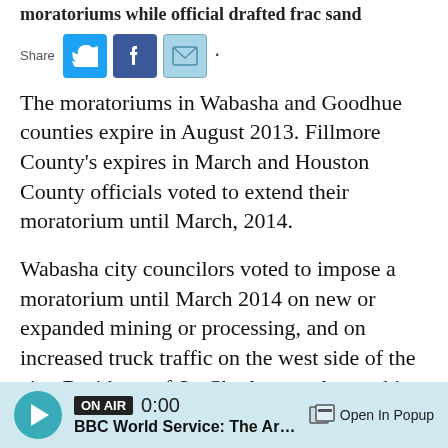moratoriums while official drafted frac sand
[Figure (other): Social share icons: Twitter, Facebook, Email with Share label]
The moratoriums in Wabasha and Goodhue counties expire in August 2013. Fillmore County's expires in March and Houston County officials voted to extend their moratorium until March, 2014.
Wabasha city councilors voted to impose a moratorium until March 2014 on new or expanded mining or processing, and on increased truck traffic on the west side of the city. Residents of St. Charles are also pushing for a moratorium.
In the city of Winona, officials used an emergency meeting last year to pass a one year moratorium
[Figure (other): Audio player bar: ON AIR badge, 0:00 time, BBC World Service: The Arts I, Open In Popup button]